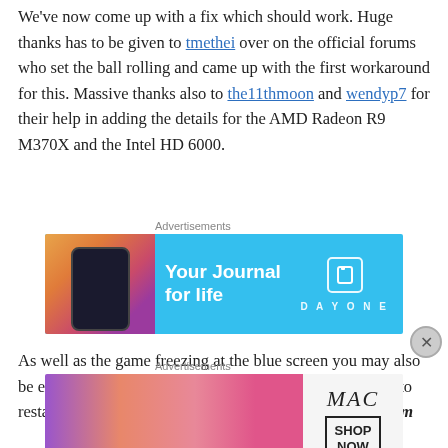We've now come up with a fix which should work. Huge thanks has to be given to tmethei over on the official forums who set the ball rolling and came up with the first workaround for this. Massive thanks also to the11thmoon and wendyp7 for their help in adding the details for the AMD Radeon R9 M370X and the Intel HD 6000.
[Figure (other): Advertisement banner for Day One journal app with blue background, phone image on left, 'Your Journal for life' headline, and Day One branding on right]
As well as the game freezing at the blue screen you may also be experiencing the following error message when trying to restart the game – "Cannot start the process when the gam
[Figure (other): Advertisement banner for MAC cosmetics showing lipsticks on left, MAC logo in italic, and SHOP NOW button on right]